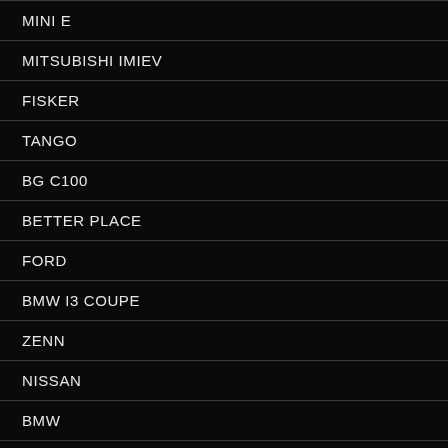MINI E
MITSUBISHI IMIEV
FISKER
TANGO
BG C100
BETTER PLACE
FORD
BMW I3 COUPE
ZENN
NISSAN
BMW
BYD AUTO